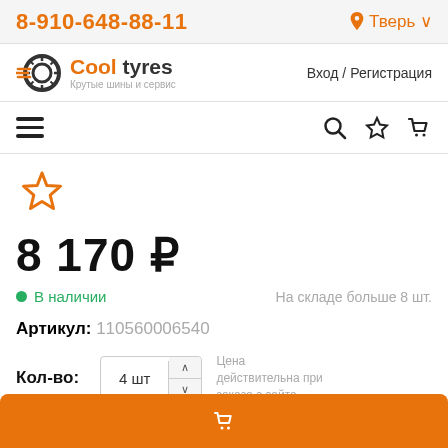8-910-648-88-11 | Тверь
[Figure (logo): Cool tyres logo with tire graphic and subtitle 'Крутые шины и сервис']
Вход / Регистрация
[Figure (infographic): Navigation bar with hamburger menu, search, favorites, and cart icons]
[Figure (infographic): Orange outlined star (favorites icon)]
8 170 ₽
В наличии
На складе больше 8 шт.
Артикул: 110560006540
Кол-во: 4 шт — Цена действительна при заказе с сайта
Купить (button)